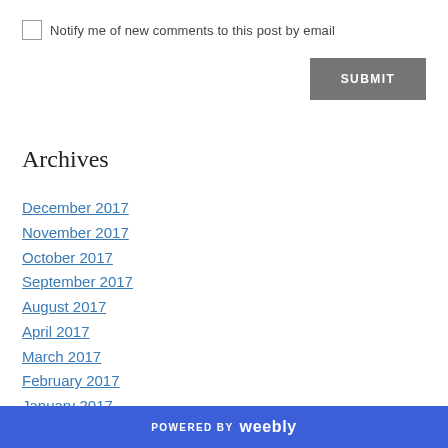Notify me of new comments to this post by email
SUBMIT
Archives
December 2017
November 2017
October 2017
September 2017
August 2017
April 2017
March 2017
February 2017
January 2017
POWERED BY weebly